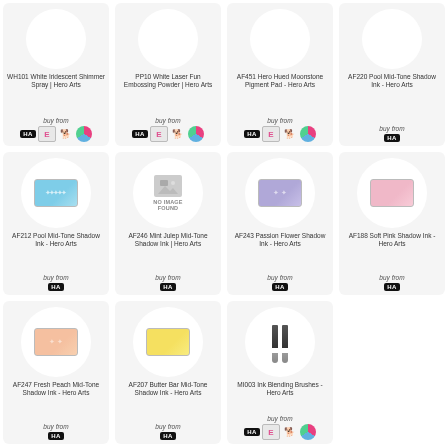[Figure (photo): WH101 White Iridescent Shimmer Spray product card with HA, E, dog, S badges]
WH101 White Iridescent Shimmer Spray | Hero Arts
buy from
[Figure (photo): PP10 White Laser Fun Embossing Powder product card with HA, E, dog, S badges]
PP10 White Laser Fun Embossing Powder | Hero Arts
buy from
[Figure (photo): AF451 Hero Hued Moonstone Pigment Pad product card with HA, E, dog, S badges]
AF451 Hero Hued Moonstone Pigment Pad - Hero Arts
buy from
[Figure (photo): AF220 Pool Mid-Tone Shadow Ink product card with HA badge only]
AF220 Pool Mid-Tone Shadow Ink - Hero Arts
buy from
[Figure (photo): AF212 Pool Mid-Tone Shadow Ink blue ink pad]
AF212 Pool Mid-Tone Shadow Ink - Hero Arts
buy from
[Figure (photo): AF246 Mint Julep Mid-Tone Shadow Ink - No Image Found]
AF246 Mint Julep Mid-Tone Shadow Ink | Hero Arts
buy from
[Figure (photo): AF243 Passion Flower Shadow Ink purple ink pad]
AF243 Passion Flower Shadow Ink - Hero Arts
buy from
[Figure (photo): AF188 Soft Pink Shadow Ink pink ink pad]
AF188 Soft Pink Shadow Ink - Hero Arts
buy from
[Figure (photo): AF247 Fresh Peach Mid-Tone Shadow Ink peach ink pad]
AF247 Fresh Peach Mid-Tone Shadow Ink - Hero Arts
buy from
[Figure (photo): AF207 Butter Bar Mid-Tone Shadow Ink yellow ink pad]
AF207 Butter Bar Mid-Tone Shadow Ink - Hero Arts
buy from
[Figure (photo): MI003 Ink Blending Brushes with HA, E, dog, S badges]
MI003 Ink Blending Brushes - Hero Arts
buy from